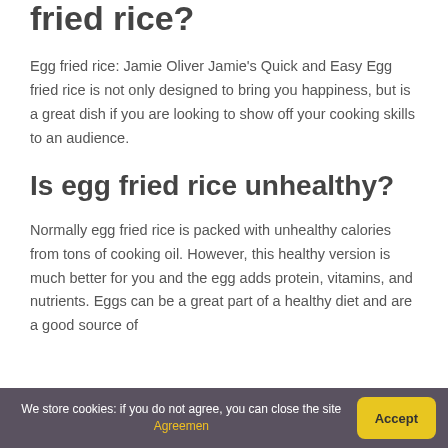fried rice?
Egg fried rice: Jamie Oliver Jamie's Quick and Easy Egg fried rice is not only designed to bring you happiness, but is a great dish if you are looking to show off your cooking skills to an audience.
Is egg fried rice unhealthy?
Normally egg fried rice is packed with unhealthy calories from tons of cooking oil. However, this healthy version is much better for you and the egg adds protein, vitamins, and nutrients. Eggs can be a great part of a healthy diet and are a good source of
We store cookies: if you do not agree, you can close the site Agreemen